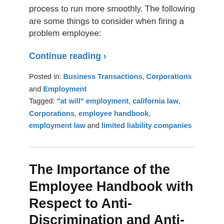process to run more smoothly. The following are some things to consider when firing a problem employee:
Continue reading ›
Posted in: Business Transactions, Corporations and Employment
Tagged: "at will" employment, california law, Corporations, employee handbook, employment law and limited liability companies
The Importance of the Employee Handbook with Respect to Anti-Discrimination and Anti-Harassment in California